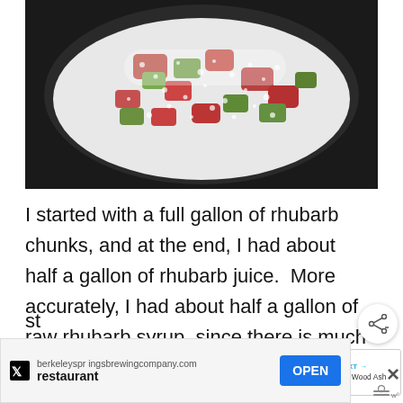[Figure (photo): Overhead close-up view of chopped rhubarb chunks covered in white sugar inside a glass jar or bowl. The rhubarb pieces are red and green, heavily coated with granular white sugar.]
I started with a full gallon of rhubarb chunks, and at the end, I had about half a gallon of rhubarb juice.  More accurately, I had about half a gallon of raw rhubarb syrup, since there is so much sugar in there you could almost
[Figure (infographic): Share button overlay (circular button with share icon) and a 'WHAT'S NEXT' widget showing '70+ Uses for Wood Ash' with a thumbnail image of ash powder.]
st
[Figure (screenshot): Advertisement bar for berkeleysspringsbrewingcompany.com showing a restaurant ad with an OPEN button and an X close button. Also shows a weather icon in the bottom right corner.]